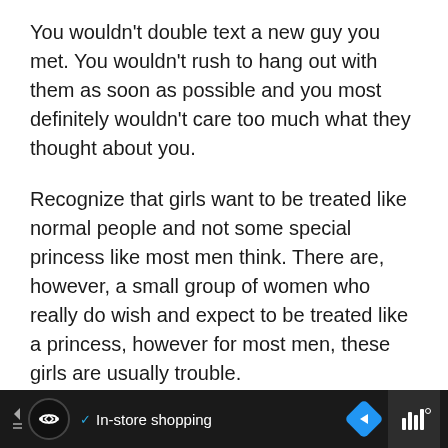You wouldn't double text a new guy you met. You wouldn't rush to hang out with them as soon as possible and you most definitely wouldn't care too much what they thought about you.
Recognize that girls want to be treated like normal people and not some special princess like most men think. There are, however, a small group of women who really do wish and expect to be treated like a princess, however for most men, these girls are usually trouble.
P – Proximity
[Figure (screenshot): Mobile advertisement bar at the bottom showing a navigation/shopping app ad with logo, checkmark, 'In-store shopping' text, and navigation arrow icon]